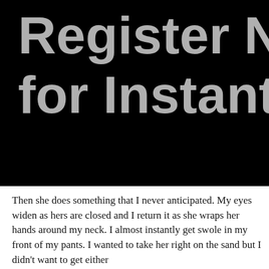[Figure (screenshot): Black banner with large gray bold text reading 'Register NO' on first line and 'for Instant Ac' on second line, cropped on the right side]
Then she does something that I never anticipated. My eyes widen as hers are closed and I return it as she wraps her hands around my neck. I almost instantly get swole in my front of my pants. I wanted to take her right on the sand but I didn't want to get either